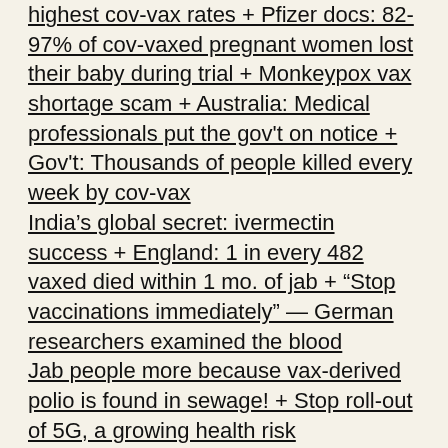highest cov-vax rates + Pfizer docs: 82-97% of cov-vaxed pregnant women lost their baby during trial + Monkeypox vax shortage scam + Australia: Medical professionals put the gov't on notice + Gov't: Thousands of people killed every week by cov-vax
India's global secret: ivermectin success + England: 1 in every 482 vaxed died within 1 mo. of jab + “Stop vaccinations immediately” — German researchers examined the blood
Jab people more because vax-derived polio is found in sewage! + Stop roll-out of 5G, a growing health risk
C.L.E.A.R. upcoming events + What can we do now with the plandemic + Tools and resources + other